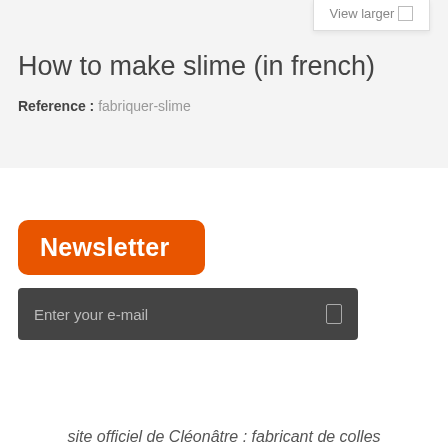View larger
How to make slime (in french)
Reference : fabriquer-slime
Newsletter
Enter your e-mail
site officiel de Cléonâtre : fabricant de colles